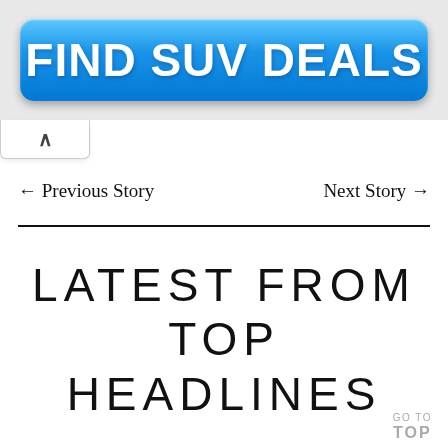[Figure (other): Blue gradient button/banner with white bold text reading FIND SUV DEALS on a light gray background]
[Figure (other): A small tab UI element with an upward caret/chevron symbol, white background with light border]
← Previous Story    Next Story →
LATEST FROM TOP HEADLINES
GO TO TOP